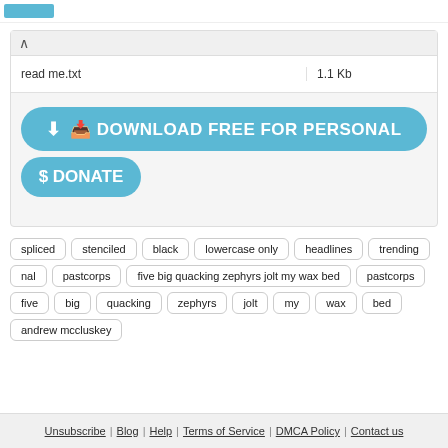[logo]
|  |  |
| --- | --- |
| read me.txt | 1.1 Kb |
DOWNLOAD FREE FOR PERSONAL
DONATE
spliced
stenciled
black
lowercase only
headlines
trending
nal
pastcorps
five big quacking zephyrs jolt my wax bed
pastcorps
five
big
quacking
zephyrs
jolt
my
wax
bed
andrew mccluskey
Unsubscribe | Blog | Help | Terms of Service | DMCA Policy | Contact us